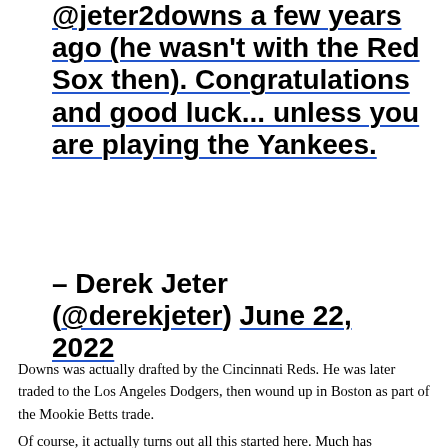@jeter2downs a few years ago (he wasn't with the Red Sox then). Congratulations and good luck… unless you are playing the Yankees.
– Derek Jeter (@derekjeter) June 22, 2022
Downs was actually drafted by the Cincinnati Reds. He was later traded to the Los Angeles Dodgers, then wound up in Boston as part of the Mookie Betts trade.
Of course, it actually turns out all this started here. Much has